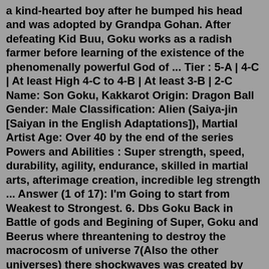a kind-hearted boy after he bumped his head and was adopted by Grandpa Gohan. After defeating Kid Buu, Goku works as a radish farmer before learning of the existence of the phenomenally powerful God of ... Tier : 5-A | 4-C | At least High 4-C to 4-B | At least 3-B | 2-C Name: Son Goku, Kakkarot Origin: Dragon Ball Gender: Male Classification: Alien (Saiya-jin [Saiyan in the English Adaptations]), Martial Artist Age: Over 40 by the end of the series Powers and Abilities : Super strength, speed, durability, agility, endurance, skilled in martial arts, afterimage creation, incredible leg strength ... Answer (1 of 17): I'm Going to start from Weakest to Strongest. 6. Dbs Goku Back in Battle of gods and Begining of Super, Goku and Beerus where threantening to destroy the macrocosm of universe 7(Also the other universes) there shockwaves was created by God Goku And Beerus punches to one anothe... Tier: Likely 5-C, Low 5-B, 5-B, 5-A, 4-C, 4-B Powers: Superhuman Physical Characteristics, Martial Arts Mastery, Chi Manipulation, Enhanced Senses, Flight, Afterimage...